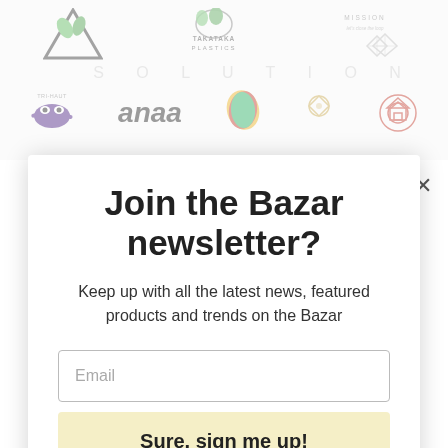[Figure (screenshot): Background banner showing multiple company logos including 1PlasticLife (triangle logo with leaves), Takataka Plastics, Mission (diamond logos), SOLUTION text, Tri-Haut (character mascot), anaa (bold text), colorful leaf/ellipse logo, decorative diamond, and a house/target logo.]
Join the Bazar newsletter?
Keep up with all the latest news, featured products and trends on the Bazar
Email
Sure, sign me up!